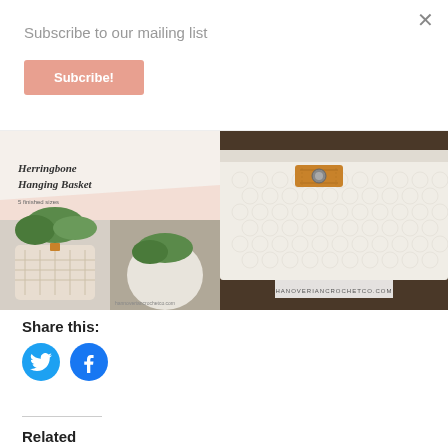Subscribe to our mailing list
Subcribe!
[Figure (photo): Two photos of herringbone hanging baskets with plants, collaged with text overlay reading 'Herringbone Hanging Basket 5 finished sizes' and hannoveriancrochetco.com watermark]
[Figure (photo): Close-up photo of a white crocheted basket with a tan leather handle and metal snap button, watermark: HANOVERIANCROCHETCO.COM]
Share this:
[Figure (logo): Twitter bird icon in blue circle]
[Figure (logo): Facebook f icon in blue circle]
Related